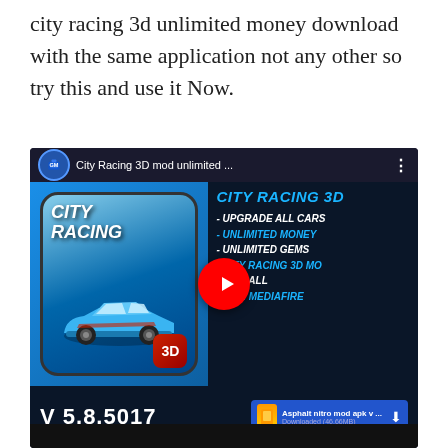city racing 3d unlimited money download with the same application not any other so try this and use it Now.
[Figure (screenshot): YouTube video thumbnail for 'City Racing 3D mod unlimited ...' showing a blue racing car, game features (UPGRADE ALL CARS, UNLIMITED MONEY, UNLIMITED GEMS, MOD ALL, LINK MEDIAFIRE), version V 5.8.5017, and an Asphalt nitro mod apk download badge.]